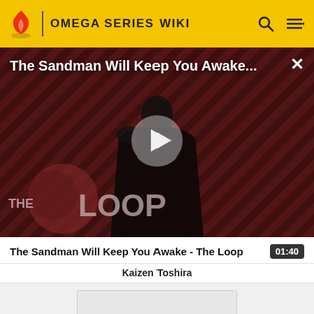OMEGA SERIES WIKI
[Figure (screenshot): Video player showing 'The Sandman Will Keep You Awake...' with a dark-cloaked figure on a red diagonal striped background with THE LOOP logo. A play button triangle is centered. A close X button is top right.]
The Sandman Will Keep You Awake - The Loop
Kaizen Toshira
[Figure (screenshot): Thumbnail preview box with gray background and a partial gray bar at bottom]